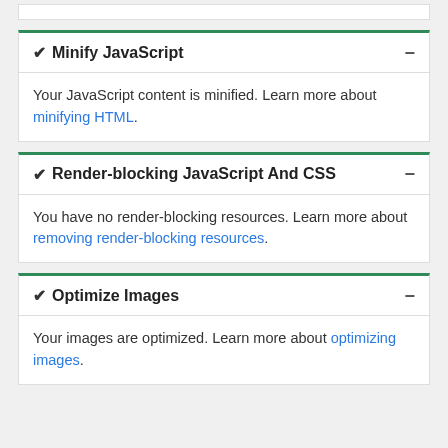✔ Minify JavaScript
Your JavaScript content is minified. Learn more about minifying HTML.
✔ Render-blocking JavaScript And CSS
You have no render-blocking resources. Learn more about removing render-blocking resources.
✔ Optimize Images
Your images are optimized. Learn more about optimizing images.